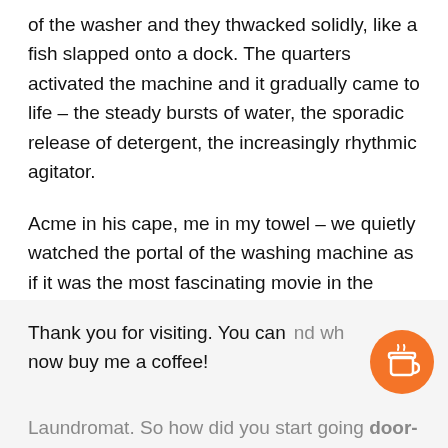of the washer and they thwacked solidly, like a fish slapped onto a dock. The quarters activated the machine and it gradually came to life – the steady bursts of water, the sporadic release of detergent, the increasingly rhythmic agitator.
Acme in his cape, me in my towel – we quietly watched the portal of the washing machine as if it was the most fascinating movie in the world. It was soothing and hypnotic.
Thank you for visiting. You can now buy me a coffee!
Laundromat. So how did you start going door-